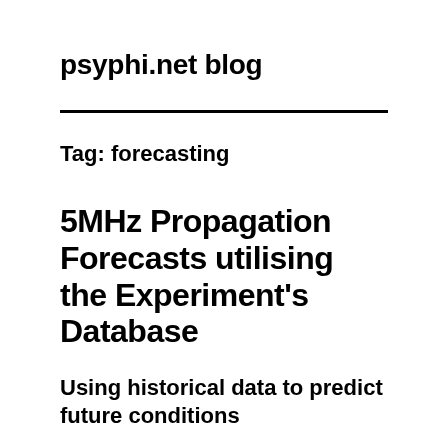psyphi.net blog
Tag: forecasting
5MHz Propagation Forecasts utilising the Experiment's Database
Using historical data to predict future conditions